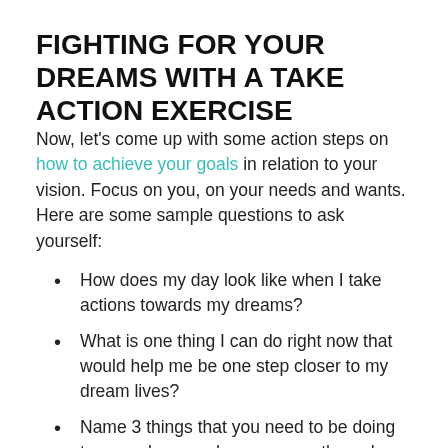FIGHTING FOR YOUR DREAMS WITH A TAKE ACTION EXERCISE
Now, let's come up with some action steps on how to achieve your goals in relation to your vision. Focus on you, on your needs and wants. Here are some sample questions to ask yourself:
How does my day look like when I take actions towards my dreams?
What is one thing I can do right now that would help me be one step closer to my dream lives?
Name 3 things that you need to be doing to go make your dreams come through.
What is one obstacle I can take care of today